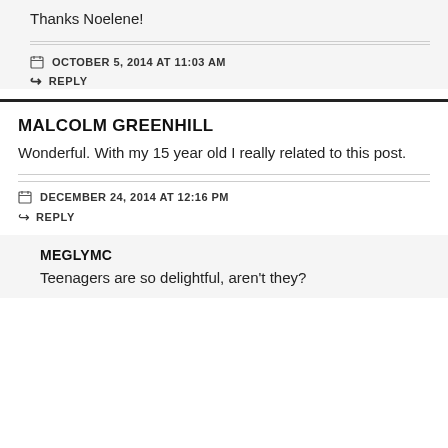Thanks Noelene!
OCTOBER 5, 2014 AT 11:03 AM
REPLY
MALCOLM GREENHILL
Wonderful. With my 15 year old I really related to this post.
DECEMBER 24, 2014 AT 12:16 PM
REPLY
MEGLYMC
Teenagers are so delightful, aren't they?